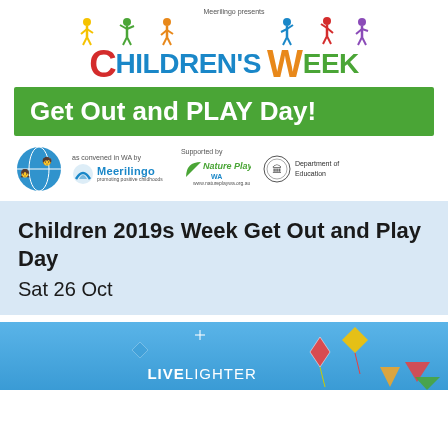[Figure (logo): Meerilingo presents Children's Week logo with colorful silhouette children figures and the text 'CHILDREN'S WEEK' in multicolored letters, followed by a green banner reading 'Get Out and PLAY Day!', with supporting logos: Children's Week globe logo, Meerilingo logo, Nature Play WA logo, and Department of Education logo.]
Children 2019s Week Get Out and Play Day
Sat 26 Oct
[Figure (photo): Blue sky background with kites and colorful geometric shapes, with LIVELIGHTER text overlay at bottom]